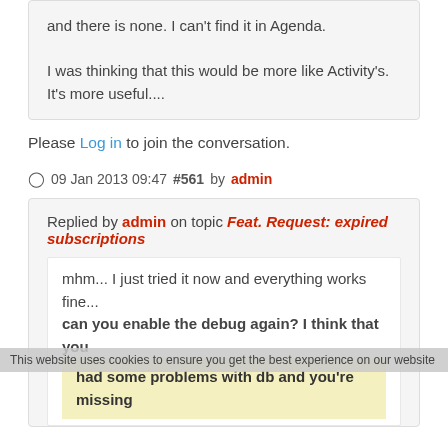and there is none. I can't find it in Agenda.

I was thinking that this would be more like Activity's. It's more useful....
Please Log in to join the conversation.
09 Jan 2013 09:47 #561 by admin
Replied by admin on topic Feat. Request: expired subscriptions
mhm... I just tried it now and everything works fine...
can you enable the debug again? I think that you had some problems with db and you're missing
This website uses cookies to ensure you get the best experience on our website